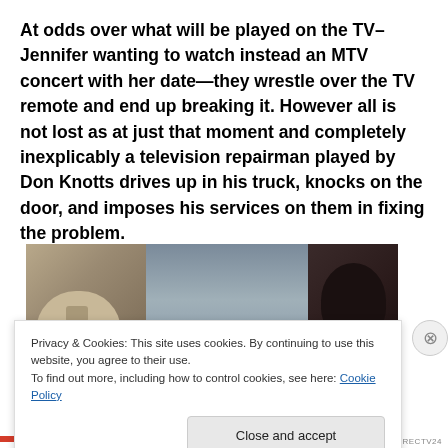At odds over what will be played on the TV–Jennifer wanting to watch instead an MTV concert with her date—they wrestle over the TV remote and end up breaking it. However all is not lost as at just that moment and completely inexplicably a television repairman played by Don Knotts drives up in his truck, knocks on the door, and imposes his services on them in fixing the problem.
[Figure (photo): Film still showing a person wearing a beige/tan cap on the left and a dark-haired person on the right, with a shelf/bookcase visible in the background.]
Privacy & Cookies: This site uses cookies. By continuing to use this website, you agree to their use.
To find out more, including how to control cookies, see here: Cookie Policy